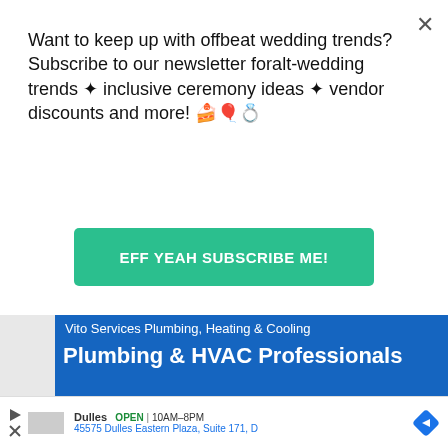Want to keep up with offbeat wedding trends?Subscribe to our newsletter for​alt-wedding trends • inclusive ceremony ideas • vendor discounts and more! 🍰🎈💍
EFF YEAH SUBSCRIBE ME!
[Figure (screenshot): Advertisement for Vito Services Plumbing, Heating & Cooling - blue banner with text 'Plumbing & HVAC Professionals' and 'Call Vito Services for all of Your Plumbing & HVAC Needs']
[Figure (screenshot): Video thumbnail with a cyan/teal play button icon on dark gray background]
[Figure (map): Google Maps style map thumbnail showing street layout]
Store
Dulles   OPEN | 10AM-8PM
45575 Dulles Eastern Plaza, Suite 171, D